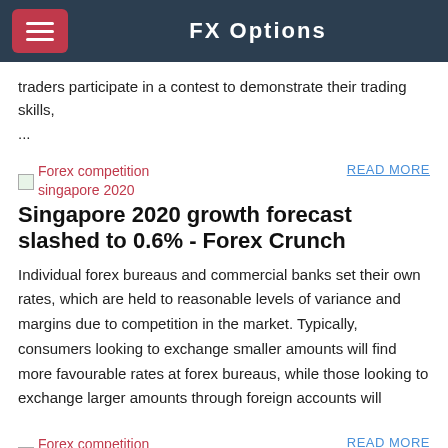FX Options
traders participate in a contest to demonstrate their trading skills,
...
[Figure (photo): Forex competition singapore 2020 image placeholder]
READ MORE
Singapore 2020 growth forecast slashed to 0.6% - Forex Crunch
Individual forex bureaus and commercial banks set their own rates, which are held to reasonable levels of variance and margins due to competition in the market. Typically, consumers looking to exchange smaller amounts will find more favourable rates at forex bureaus, while those looking to exchange larger amounts through foreign accounts will
[Figure (photo): Forex competition singapore 2020 image placeholder]
READ MORE
Forex Demo Contests 2020 -